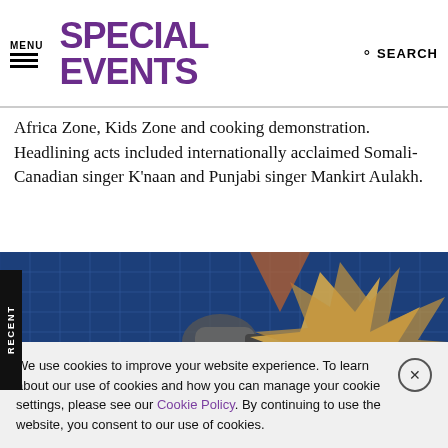MENU | SPECIAL EVENTS | SEARCH
Africa Zone, Kids Zone and cooking demonstration. Headlining acts included internationally acclaimed Somali-Canadian singer K'naan and Punjabi singer Mankirt Aulakh.
[Figure (photo): Person using a power tool on wooden star-shaped objects against a blue background with geometric patterns]
We use cookies to improve your website experience. To learn about our use of cookies and how you can manage your cookie settings, please see our Cookie Policy. By continuing to use the website, you consent to our use of cookies.